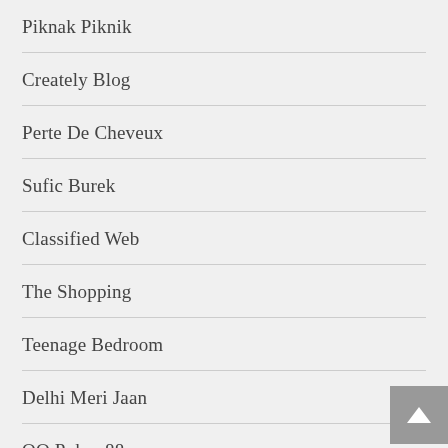Piknak Piknik
Creately Blog
Perte De Cheveux
Sufic Burek
Classified Web
The Shopping
Teenage Bedroom
Delhi Meri Jaan
QQ Poker 88
Ez Karobar